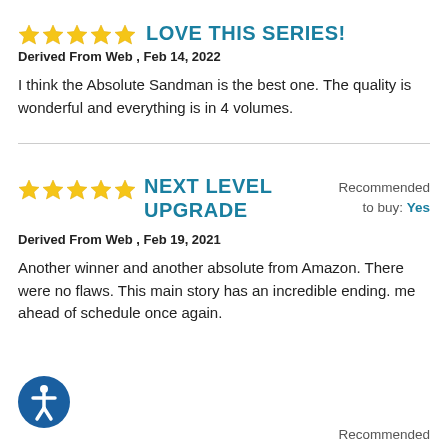LOVE THIS SERIES!
Derived From Web , Feb 14, 2022
I think the Absolute Sandman is the best one. The quality is wonderful and everything is in 4 volumes.
Recommended to buy: Yes
NEXT LEVEL UPGRADE
Derived From Web , Feb 19, 2021
Another winner and another absolute from Amazon. There were no flaws. This main story has an incredible ending. me ahead of schedule once again.
Recommended